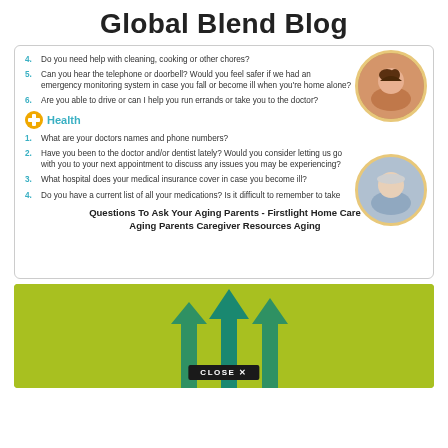Global Blend Blog
4. Do you need help with cleaning, cooking or other chores?
5. Can you hear the telephone or doorbell? Would you feel safer if we had an emergency monitoring system in case you fall or become ill when you're home alone?
6. Are you able to drive or can I help you run errands or take you to the doctor?
Health
1. What are your doctors names and phone numbers?
2. Have you been to the doctor and/or dentist lately? Would you consider letting us go with you to your next appointment to discuss any issues you may be experiencing?
3. What hospital does your medical insurance cover in case you become ill?
4. Do you have a current list of all your medications? Is it difficult to remember to take
Questions To Ask Your Aging Parents - Firstlight Home Care Aging Parents Caregiver Resources Aging
[Figure (illustration): Green background with upward arrows and a CLOSE X button at the bottom]